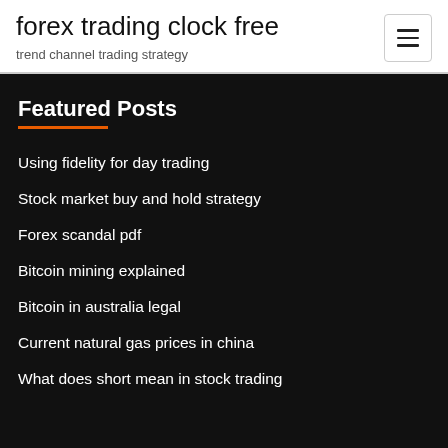forex trading clock free
trend channel trading strategy
Featured Posts
Using fidelity for day trading
Stock market buy and hold strategy
Forex scandal pdf
Bitcoin mining explained
Bitcoin in australia legal
Current natural gas prices in china
What does short mean in stock trading